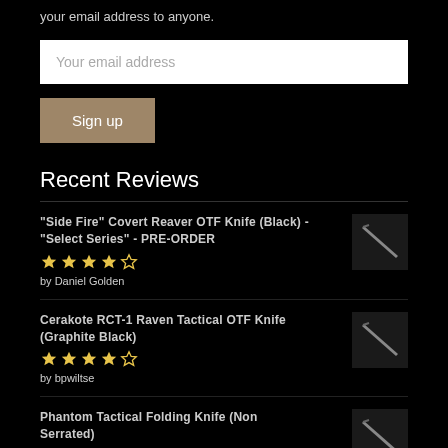your email address to anyone.
Your email address
Sign up
Recent Reviews
"Side Fire" Covert Reaver OTF Knife (Black) - "Select Series" - PRE-ORDER
★★★★☆
by Daniel Golden
Cerakote RCT-1 Raven Tactical OTF Knife (Graphite Black)
★★★★☆
by bpwiltse
Phantom Tactical Folding Knife (Non Serrated)
★★★☆☆
by Jadon Botticelli